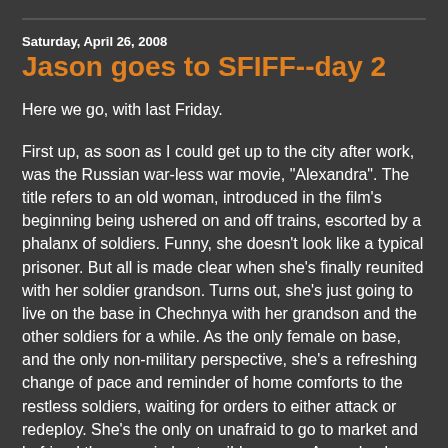Saturday, April 26, 2008
Jason goes to SFIFF--day 2
Here we go, with last Friday.
First up, as soon as I could get up to the city after work, was the Russian war-less war movie, "Alexandra". The title refers to an old woman, introduced in the film's beginning being ushered on and off trains, escorted by a phalanx of soldiers. Funny, she doesn't look like a typical prisoner. But all is made clear when she's finally reunited with her soldier grandson. Turns out, she's just going to live on the base in Chechnya with her grandson and the other soldiers for a while. As the only female on base, and the only non-military perspective, she's a refreshing change of pace and reminder of home comforts to the restless soldiers, waiting for orders to either attack or redeploy. She's the only on unafraid to go to market and befriend the occupied ostensible enemy. As such, she provides an elegant figure to point out the banality and ridiculousness of war. It's a slow movie--much of the point is about how little happens. But patience is rewarded...